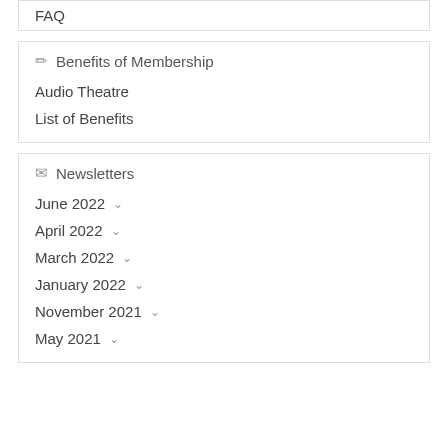FAQ
Benefits of Membership
Audio Theatre
List of Benefits
Newsletters
June 2022
April 2022
March 2022
January 2022
November 2021
May 2021